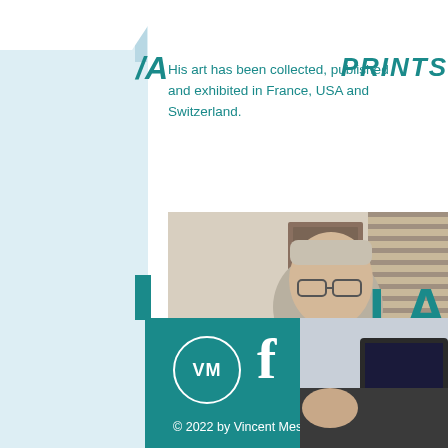His art has been collected, published and exhibited in France, USA and Switzerland.
[Figure (photo): Person holding a painting of a military jet aircraft (F/A-18) in flight against a cloudy sky background. A portrait painting is visible on the wall behind them.]
[Figure (logo): Aviation-themed logo with blue horizontal stripes forming wing/chevron shape, a gold star, and a stylized T or arrow shape in blue.]
[Figure (other): Teal footer bar with VM circle monogram logo, Facebook f icon, and copyright text: © 2022 by Vincent Meslet]